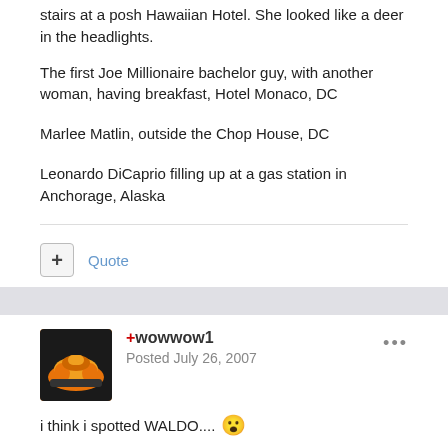stairs at a posh Hawaiian Hotel. She looked like a deer in the headlights.
The first Joe Millionaire bachelor guy, with another woman, having breakfast, Hotel Monaco, DC
Marlee Matlin, outside the Chop House, DC
Leonardo DiCaprio filling up at a gas station in Anchorage, Alaska
+ Quote
+wowwow1
Posted July 26, 2007
i think i spotted WALDO.... 😮
+ Quote